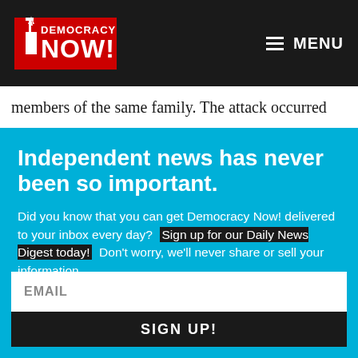Democracy Now! | MENU
members of the same family. The attack occurred
Independent news has never been so important.
Did you know that you can get Democracy Now! delivered to your inbox every day? Sign up for our Daily News Digest today! Don't worry, we'll never share or sell your information.
EMAIL
SIGN UP!